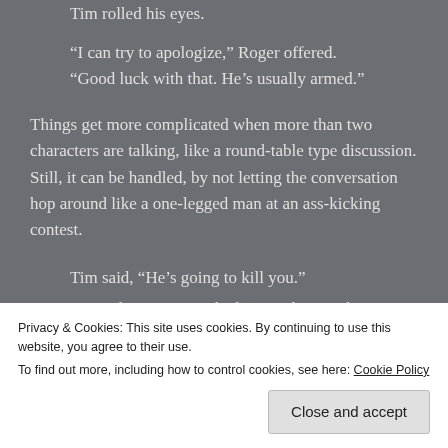Tim rolled his eyes.
“I can try to apologize,” Roger offered.
“Good luck with that. He’s usually armed.”
Things get more complicated when more than two characters are talking, like a round-table type discussion. Still, it can be handled, by not letting the conversation hop around like a one-legged man at an ass-kicking contest.
Tim said, “He’s going to kill you.”
“But why?” Roger asked. “I’ve done nothing.”
“Well you know now. What are you going to do
Privacy & Cookies: This site uses cookies. By continuing to use this website, you agree to their use.
To find out more, including how to control cookies, see here: Cookie Policy